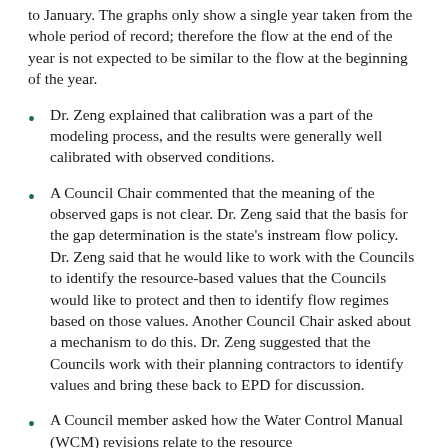to January. The graphs only show a single year taken from the whole period of record; therefore the flow at the end of the year is not expected to be similar to the flow at the beginning of the year.
Dr. Zeng explained that calibration was a part of the modeling process, and the results were generally well calibrated with observed conditions.
A Council Chair commented that the meaning of the observed gaps is not clear. Dr. Zeng said that the basis for the gap determination is the state's instream flow policy. Dr. Zeng said that he would like to work with the Councils to identify the resource-based values that the Councils would like to protect and then to identify flow regimes based on those values. Another Council Chair asked about a mechanism to do this. Dr. Zeng suggested that the Councils work with their planning contractors to identify values and bring these back to EPD for discussion.
A Council member asked how the Water Control Manual (WCM) revisions relate to the resource